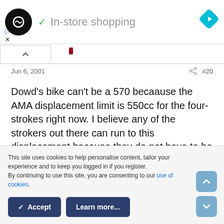[Figure (screenshot): Ad banner with circular logo, checkmark, 'In-store shopping' text, and blue navigation diamond icon]
Jun 6, 2001   #20
Dowd's bike can't be a 570 becaause the AMA displacement limit is 550cc for the four-strokes right now. I believe any of the strokers out there can run to this displacement because they do not have to be production bores or strokes on the motors. Hughes doesn't need production anything. Just
This site uses cookies to help personalise content, tailor your experience and to keep you logged in if you register.
By continuing to use this site, you are consenting to our use of cookies.